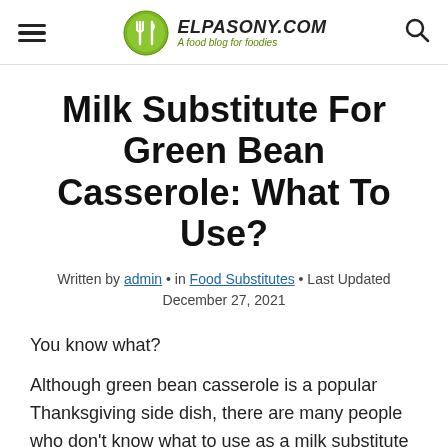ELPASONY.COM — A food blog for foodies
Milk Substitute For Green Bean Casserole: What To Use?
Written by admin • in Food Substitutes • Last Updated December 27, 2021
You know what?
Although green bean casserole is a popular Thanksgiving side dish, there are many people who don't know what to use as a milk substitute when